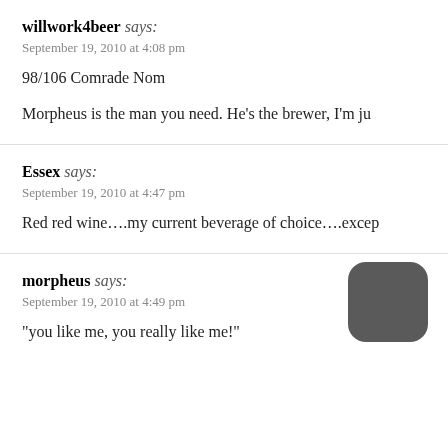willwork4beer says:
September 19, 2010 at 4:08 pm
98/106 Comrade Nom
Morpheus is the man you need. He's the brewer, I'm ju
Essex says:
September 19, 2010 at 4:47 pm
Red red wine….my current beverage of choice….excep
morpheus says:
September 19, 2010 at 4:49 pm
“you like me, you really like me!”